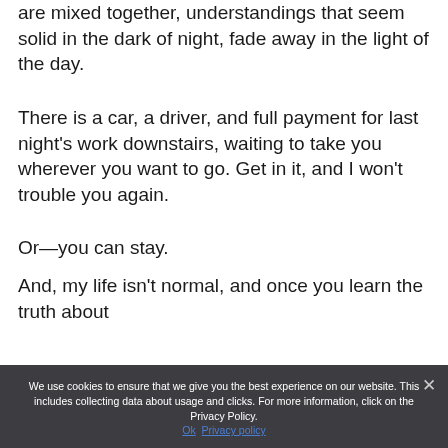When adrenaline and magic are mixed together, understandings that seem solid in the dark of night, fade away in the light of the day.
There is a car, a driver, and full payment for last night's work downstairs, waiting to take you wherever you want to go. Get in it, and I won't trouble you again.
Or—you can stay.
And, my life isn't normal, and once you learn the truth about the...
We use cookies to ensure that we give you the best experience on our website. This includes collecting data about usage and clicks. For more information, click on the Privacy Policy.